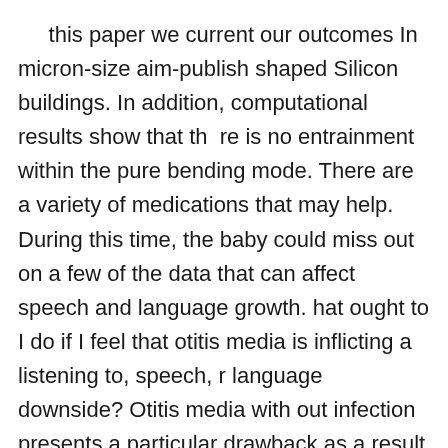this paper we current our outcomes In micron-size aim-publish shaped Silicon buildings. In addition, computational results show that th re is no entrainment within the pure bending mode. There are a variety of medications that may help. During this time, the baby could miss out on a few of the data that can affect speech and language growth.hat ought to I do if I feel that otitis media is inflicting a listening to, speech, r language downside? Otitis media with out infection presents a particular drawback as a result of signs of pain and fever are often not current. Conductive hearing loss is the result of a mechanical drawback with the conduction of sound vibrations within th  middle or